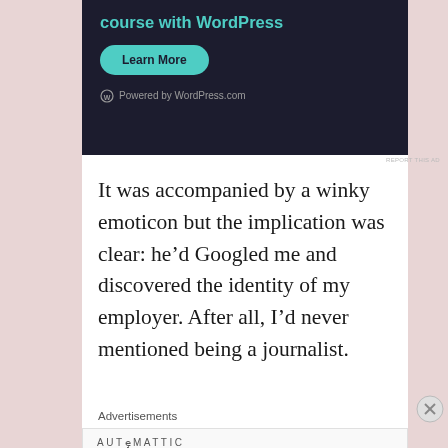[Figure (screenshot): Advertisement banner with dark background showing 'course with WordPress' headline in teal, a teal 'Learn More' rounded button, and 'Powered by WordPress.com' text with WordPress logo at bottom]
It was accompanied by a winky emoticon but the implication was clear: he’d Googled me and discovered the identity of my employer. After all, I’d never mentioned being a journalist.
Advertisements
[Figure (screenshot): Automattic advertisement: 'AUTOMATTIC' in spaced caps followed by 'Build a better web and a better world.' in bold]